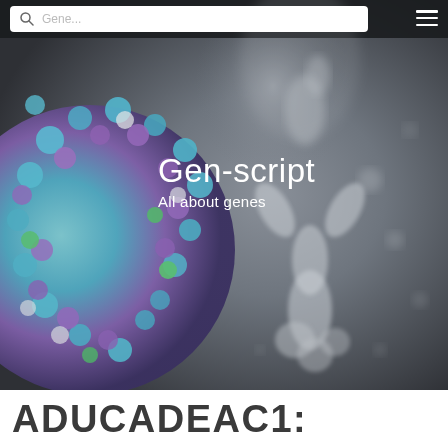[Figure (screenshot): Website screenshot of Gen-script blog. Hero section shows a 3D rendering of a colorful virus particle (blue, purple, green, white) on the left and a translucent antibody structure on the right against a dark gray background. A white search bar with placeholder text 'Gene...' is at the top left, and a hamburger menu icon is at the top right. Overlay text reads 'Gen-script' and 'All about genes'. Below the hero image is a white section with large bold text beginning 'ADUCADEAC1:'.]
Gen-script
All about genes
ADUCADEAC1: